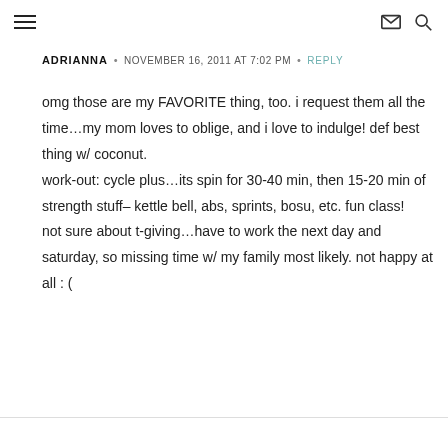☰  ✉ 🔍
ADRIANNA • NOVEMBER 16, 2011 AT 7:02 PM • REPLY
omg those are my FAVORITE thing, too. i request them all the time…my mom loves to oblige, and i love to indulge! def best thing w/ coconut.
work-out: cycle plus…its spin for 30-40 min, then 15-20 min of strength stuff– kettle bell, abs, sprints, bosu, etc. fun class!
not sure about t-giving…have to work the next day and saturday, so missing time w/ my family most likely. not happy at all : (